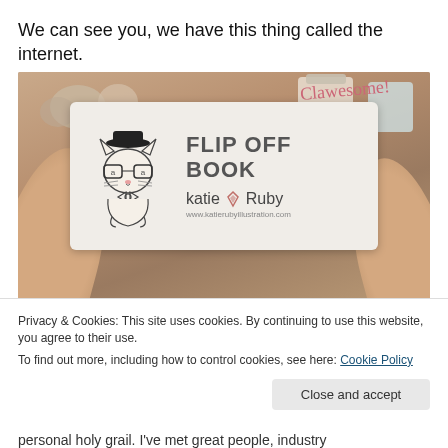We can see you, we have this thing called the internet.
[Figure (photo): Person holding a small business card reading 'FLIP OFF BOOK katie Ruby www.katierubyillustration.com' with a cartoon cat wearing glasses and a hat illustration on the left side of the card.]
Privacy & Cookies: This site uses cookies. By continuing to use this website, you agree to their use.
To find out more, including how to control cookies, see here: Cookie Policy
personal holy grail. I've met great people, industry